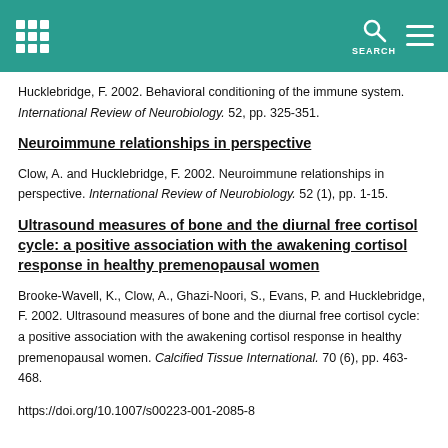Hucklebridge, F. 2002. Behavioral conditioning of the immune system. International Review of Neurobiology. 52, pp. 325-351.
Neuroimmune relationships in perspective
Clow, A. and Hucklebridge, F. 2002. Neuroimmune relationships in perspective. International Review of Neurobiology. 52 (1), pp. 1-15.
Ultrasound measures of bone and the diurnal free cortisol cycle: a positive association with the awakening cortisol response in healthy premenopausal women
Brooke-Wavell, K., Clow, A., Ghazi-Noori, S., Evans, P. and Hucklebridge, F. 2002. Ultrasound measures of bone and the diurnal free cortisol cycle: a positive association with the awakening cortisol response in healthy premenopausal women. Calcified Tissue International. 70 (6), pp. 463-468. https://doi.org/10.1007/s00223-001-2085-8